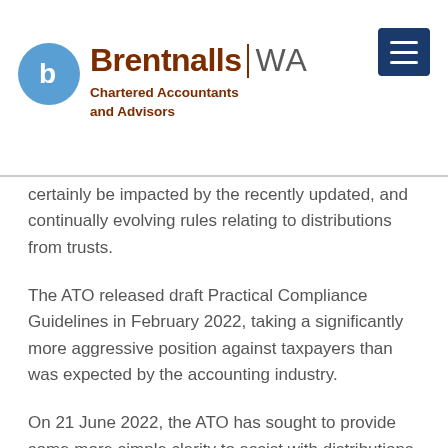[Figure (logo): Brentnalls WA logo with blue circle containing a 'b' icon, and text 'Brentnalls | WA' with subtitle 'Chartered Accountants and Advisors']
certainly be impacted by the recently updated, and continually evolving rules relating to distributions from trusts.
The ATO released draft Practical Compliance Guidelines in February 2022, taking a significantly more aggressive position against taxpayers than was expected by the accounting industry.
On 21 June 2022, the ATO has sought to provide some more simple clarity to assist with distributions ahead of 30 June 2022.